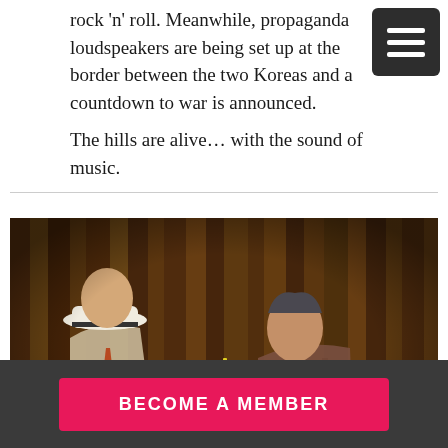rock 'n' roll. Meanwhile, propaganda loudspeakers are being set up at the border between the two Koreas and a countdown to war is announced. The hills are alive… with the sound of music.
[Figure (photo): Two elderly men sitting at a bar table. The man on the left wears a white fedora hat and a cream suit with an orange tie. The man on the right wears a brown plaid jacket. A red drink with a yellow straw sits on the table between them. Dark wood bookshelves are visible in the background.]
BECOME A MEMBER